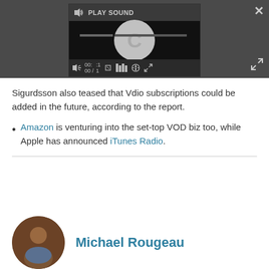[Figure (screenshot): Video player interface with dark background, showing PLAY SOUND text at top with speaker icon, a large loading spinner (C) in the center, progress bar, and playback controls at bottom including time display 00:00, mute icon, and other control icons. A close (X) button is in the top right and an expand icon in the bottom right of the surrounding dark area.]
Sigurdsson also teased that Vdio subscriptions could be added in the future, according to the report.
Amazon is venturing into the set-top VOD biz too, while Apple has announced iTunes Radio.
Michael Rougeau